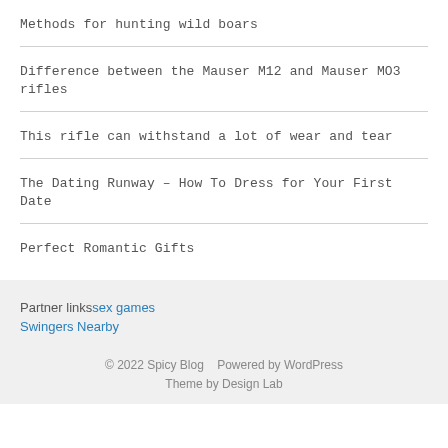Methods for hunting wild boars
Difference between the Mauser M12 and Mauser MO3 rifles
This rifle can withstand a lot of wear and tear
The Dating Runway – How To Dress for Your First Date
Perfect Romantic Gifts
Partner linkssex games
Swingers Nearby
© 2022 Spicy Blog   Powered by WordPress
Theme by Design Lab